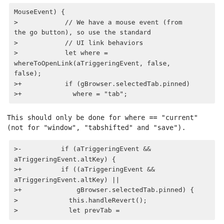MouseEvent) {
>            // We have a mouse event (from the go button), so use the standard
>            // UI link behaviors
>            let where = whereToOpenLink(aTriggeringEvent, false, false);
>+           if (gBrowser.selectedTab.pinned)
>+             where = "tab";
This should only be done for where == "current" (not for "window", "tabshifted" and "save").
>-          if (aTriggeringEvent && aTriggeringEvent.altKey) {
>+          if ((aTriggeringEvent && aTriggeringEvent.altKey) ||
>+              gBrowser.selectedTab.pinned) {
>             this.handleRevert();
>             let prevTab =